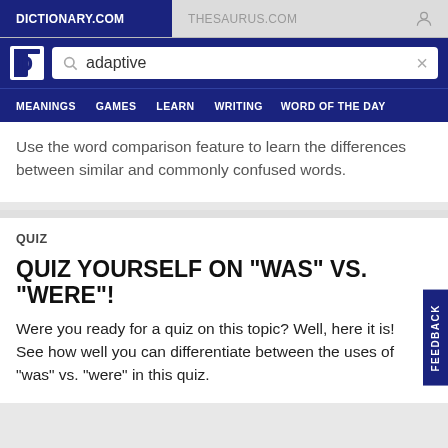DICTIONARY.COM | THESAURUS.COM
[Figure (screenshot): Dictionary.com website header with logo, search bar showing 'adaptive', and navigation menu with MEANINGS, GAMES, LEARN, WRITING, WORD OF THE DAY]
Use the word comparison feature to learn the differences between similar and commonly confused words.
QUIZ
QUIZ YOURSELF ON "WAS" VS. "WERE"!
Were you ready for a quiz on this topic? Well, here it is! See how well you can differentiate between the uses of "was" vs. "were" in this quiz.